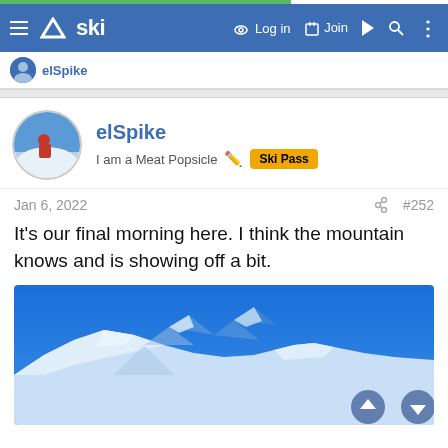ski — Log in  Join
elSpike
elSpike
I am a Meat Popsicle  Ski Pass
Jan 6, 2022  #252
It's our final morning here. I think the mountain knows and is showing off a bit.
[Figure (photo): Mountain landscape with snow-covered peaks under a vivid blue sky. The terrain shows a snowy ridge line in the foreground against a clear bright blue sky. Navigation scroll buttons (up and down arrows) are visible at the bottom right.]